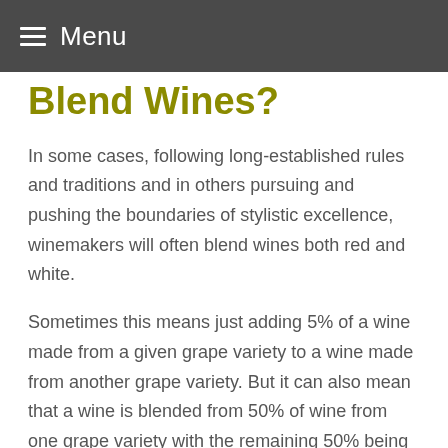Menu
Blend Wines?
In some cases, following long-established rules and traditions and in others pursuing and pushing the boundaries of stylistic excellence, winemakers will often blend wines both red and white.
Sometimes this means just adding 5% of a wine made from a given grape variety to a wine made from another grape variety. But it can also mean that a wine is blended from 50% of wine from one grape variety with the remaining 50% being comprised of